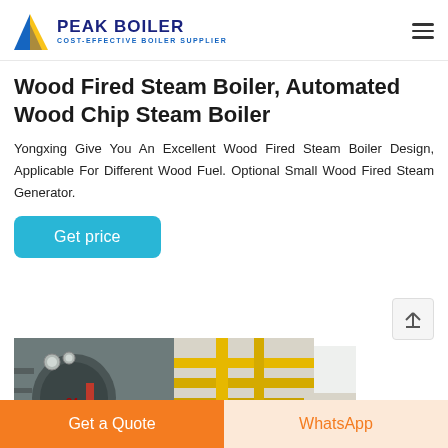PEAK BOILER - COST-EFFECTIVE BOILER SUPPLIER
Wood Fired Steam Boiler, Automated Wood Chip Steam Boiler
Yongxing Give You An Excellent Wood Fired Steam Boiler Design, Applicable For Different Wood Fuel. Optional Small Wood Fired Steam Generator.
[Figure (other): Get price button - teal/cyan rounded rectangle button]
[Figure (photo): Industrial boiler equipment and piping in a factory setting]
Get a Quote | WhatsApp